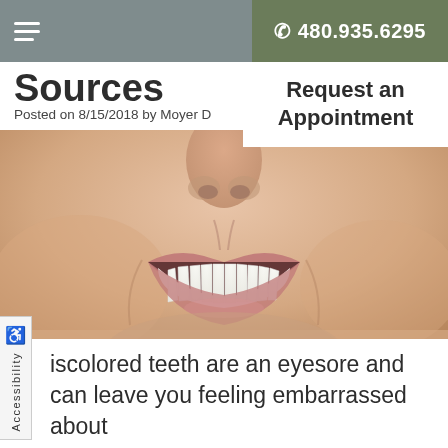480.935.6295
Sources
Posted on 8/15/2018 by Moyer D
Request an Appointment
[Figure (photo): Close-up photo of a woman smiling with bright white teeth, showing lower face from nose to chin]
Discolored teeth are an eyesore and can leave you feeling embarrassed about